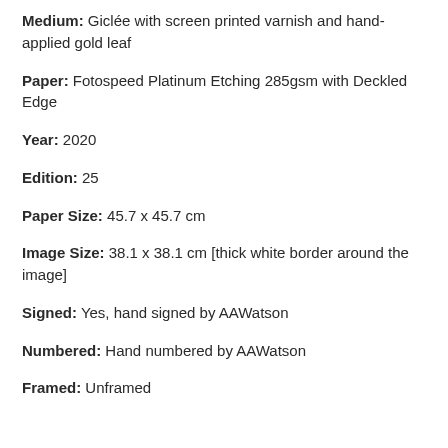Medium: Giclée with screen printed varnish and hand-applied gold leaf
Paper: Fotospeed Platinum Etching 285gsm with Deckled Edge
Year: 2020
Edition: 25
Paper Size: 45.7 x 45.7 cm
Image Size: 38.1 x 38.1 cm [thick white border around the image]
Signed: Yes, hand signed by AAWatson
Numbered: Hand numbered by AAWatson
Framed: Unframed